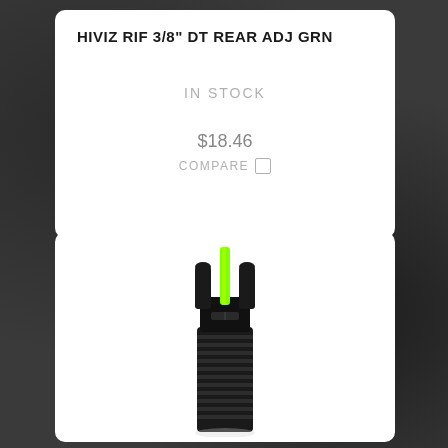HIVIZ RIF 3/8" DT REAR ADJ GRN
IN STOCK
$18.46
COMPARE
[Figure (photo): HIVIZ rifle rear adjustable sight with green fiber optic element, mounted on a cylindrical threaded barrel section. The sight has a black body with a bright green vertical fiber optic rod visible between two protective ears.]